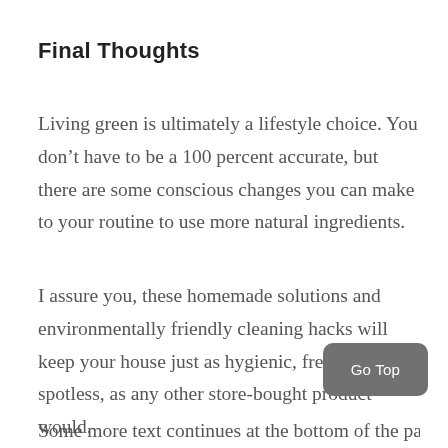Final Thoughts
Living green is ultimately a lifestyle choice. You don't have to be a 100 percent accurate, but there are some conscious changes you can make to your routine to use more natural ingredients.
I assure you, these homemade solutions and environmentally friendly cleaning hacks will keep your house just as hygienic, fresh and spotless, as any other store-bought product would.
Go Top
Some more text continues at the bottom of the page...